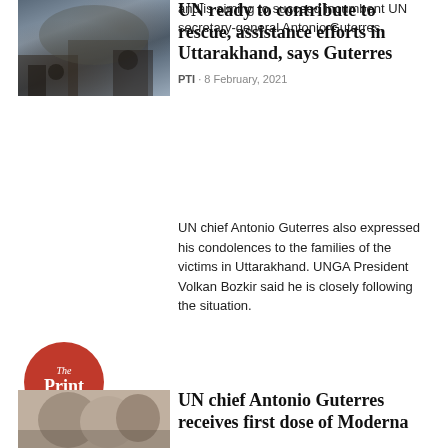and is aiming to succeed incumbent UN secretary-general Antonio Guterres.
[Figure (photo): Rescue and relief operation scene with machinery and workers, Uttarakhand disaster]
UN ready to contribute to rescue, assistance efforts in Uttarakhand, says Guterres
PTI · 8 February, 2021
UN chief Antonio Guterres also expressed his condolences to the families of the victims in Uttarakhand. UNGA President Volkan Bozkir said he is closely following the situation.
[Figure (logo): The Print logo — red circle with speech bubble tail]
[Figure (photo): People wearing masks, UN chief Antonio Guterres receiving vaccine]
UN chief Antonio Guterres receives first dose of Moderna